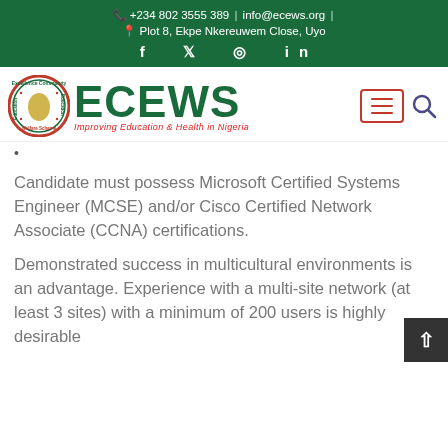+234 802 3555 389 | info@ecews.org | Plot 8, Ekpe Nkereuwem Close, Uyo
[Figure (logo): ECEWS logo: circular badge with Africa map and text 'Excellence Community Education Welfare Scheme', next to large green ECEWS text and tagline 'Improving Education & Health in Nigeria']
Candidate must possess Microsoft Certified Systems Engineer (MCSE) and/or Cisco Certified Network Associate (CCNA) certifications.
Demonstrated success in multicultural environments is an advantage. Experience with a multi-site network (at least 3 sites) with a minimum of 200 users is highly desirable